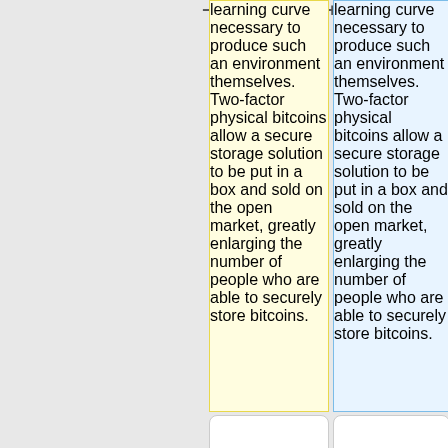learning curve necessary to produce such an environment themselves. Two-factor physical bitcoins allow a secure storage solution to be put in a box and sold on the open market, greatly enlarging the number of people who are able to securely store bitcoins.
learning curve necessary to produce such an environment themselves. Two-factor physical bitcoins allow a secure storage solution to be put in a box and sold on the open market, greatly enlarging the number of people who are able to securely store bitcoins.
Existing methodologies for creating two-factor physical
Existing methodologies for creating two-factor physical